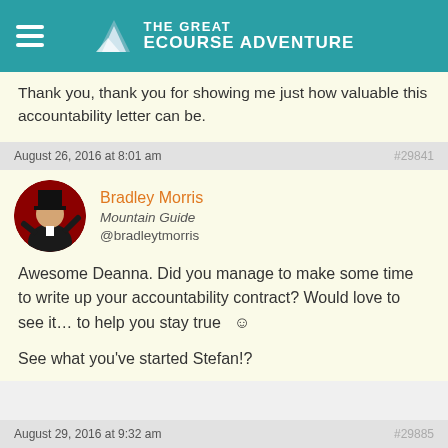THE GREAT eCOURSE ADVENTURE
Thank you, thank you for showing me just how valuable this accountability letter can be.
August 26, 2016 at 8:01 am  #29841
[Figure (photo): Avatar photo of Bradley Morris dressed as a magician in black suit and top hat against red curtain background]
Bradley Morris
Mountain Guide
@bradleytmorris
Awesome Deanna. Did you manage to make some time to write up your accountability contract? Would love to see it… to help you stay true  🙂

See what you've started Stefan!?
August 29, 2016 at 9:32 am  #29885